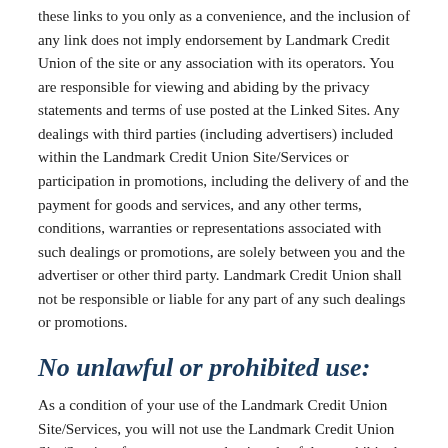these links to you only as a convenience, and the inclusion of any link does not imply endorsement by Landmark Credit Union of the site or any association with its operators. You are responsible for viewing and abiding by the privacy statements and terms of use posted at the Linked Sites. Any dealings with third parties (including advertisers) included within the Landmark Credit Union Site/Services or participation in promotions, including the delivery of and the payment for goods and services, and any other terms, conditions, warranties or representations associated with such dealings or promotions, are solely between you and the advertiser or other third party. Landmark Credit Union shall not be responsible or liable for any part of any such dealings or promotions.
No unlawful or prohibited use:
As a condition of your use of the Landmark Credit Union Site/Services, you will not use the Landmark Credit Union Site/Services for any purpose that is unlawful or prohibited by these terms, conditions, and notices. You may not use the Landmark Credit Union Site/Services in any manner which